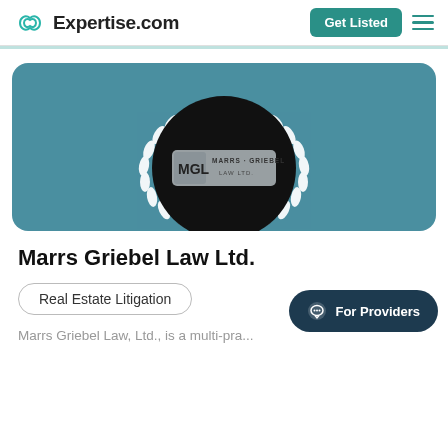Expertise.com  Get Listed
[Figure (logo): Marrs Griebel Law Ltd. logo — MGL initials with company name, displayed in a black circle with white laurel wreath, on a teal background card]
Marrs Griebel Law Ltd.
Real Estate Litigation
Marrs Griebel Law, Ltd., is a multi-pra...